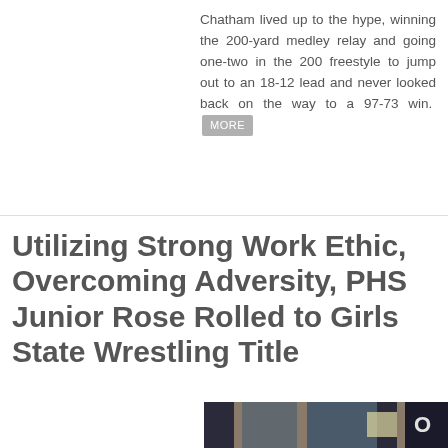Chatham lived up to the hype, winning the 200-yard medley relay and going one-two in the 200 freestyle to jump out to an 18-12 lead and never looked back on the way to a 97-73 win. MORE
Utilizing Strong Work Ethic, Overcoming Adversity, PHS Junior Rose Rolled to Girls State Wrestling Title
[Figure (photo): A young woman with short hair smiling, standing in front of glass doors of a building at night.]